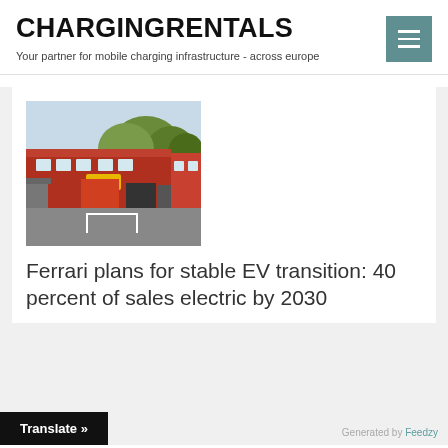CHARGINGRENTALS
Your partner for mobile charging infrastructure - across europe
[Figure (photo): Exterior of a red building with a Ferrari dealership sign, trees in background, parking area in foreground]
Ferrari plans for stable EV transition: 40 percent of sales electric by 2030
Translate »
Generated by Feedzy